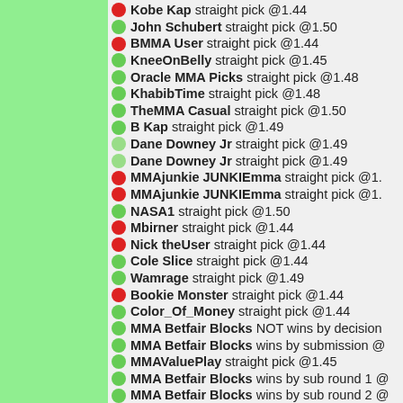Kobe Kap straight pick @1.44
John Schubert straight pick @1.50
BMMA User straight pick @1.44
KneeOnBelly straight pick @1.45
Oracle MMA Picks straight pick @1.48
KhabibTime straight pick @1.48
TheMMA Casual straight pick @1.50
B Kap straight pick @1.49
Dane Downey Jr straight pick @1.49
Dane Downey Jr straight pick @1.49
MMAjunkie JUNKIEmma straight pick @1.
MMAjunkie JUNKIEmma straight pick @1.
NASA1 straight pick @1.50
Mbirner straight pick @1.44
Nick theUser straight pick @1.44
Cole Slice straight pick @1.44
Wamrage straight pick @1.49
Bookie Monster straight pick @1.44
Color_Of_Money straight pick @1.44
MMA Betfair Blocks NOT wins by decision
MMA Betfair Blocks wins by submission @
MMAValuePlay straight pick @1.45
MMA Betfair Blocks wins by sub round 1 @
MMA Betfair Blocks wins by sub round 2 @
MMA Betfair Blocks wins by sub round 3 @
MMA Betfair Blocks wins by sub round 1 @
MeticulousMMA straight pick @1.49
The last Linemover straight pick @1.49